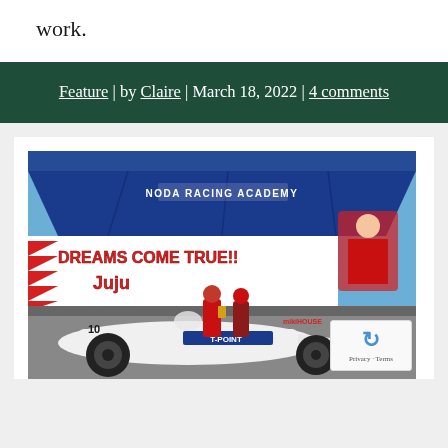work.
Feature | by Claire | March 18, 2022 | 4 comments
[Figure (photo): Racing scene at Noda Racing Academy. A formula car (number 10) with T-POINT sponsorship and mikiHOUSE branding sits in the foreground. A banner behind reads 'DREAMS COME TRUE!! Juju' with anime-style character art. People in racing gear stand near the car under a blue tent.]